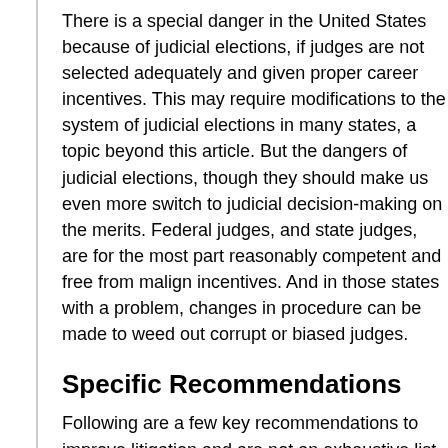There is a special danger in the United States because of judicial elections, if judges are not selected adequately and given proper career incentives. This may require modifications to the system of judicial elections in many states, a topic beyond this article. But the dangers of judicial elections, though they should make us even more switch to judicial decision-making on the merits. Federal judges, and state judges, are for the most part reasonably competent and free from malign incentives. And in those states with a problem, changes in procedure can be made to weed out corrupt or biased judges.
Specific Recommendations
Following are a few key recommendations to improve litigation and are not an exhaustive list.
Use of a Panel of Judges in the First Instance
One of the main safeguards against judicial bias in countries that have complex cases is having a panel of judges decide a case in the first instance. These panels allow colleagues to correct a biased judge. Besides, than one at legal decision-making.